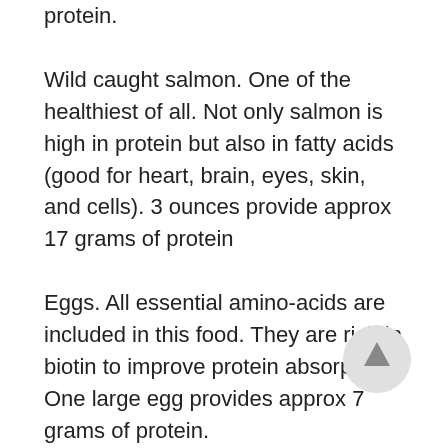protein.
Wild caught salmon. One of the healthiest of all. Not only salmon is high in protein but also in fatty acids (good for heart, brain, eyes, skin, and cells). 3 ounces provide approx 17 grams of protein
Eggs. All essential amino-acids are included in this food. They are rich in biotin to improve protein absorption. One large egg provides approx 7 grams of protein.
Other good sources are: nuts,
[Figure (illustration): A circular button with an upward-pointing arrow, light gray background, used as a scroll-to-top navigation element.]